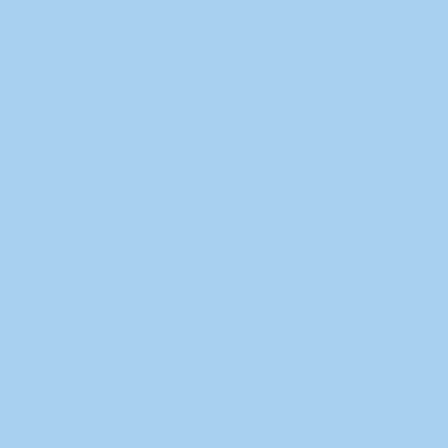Mostly C
Low: 65
Mostly clear with a h North wind around 5 mph beco
Thursday
Sunny
High: 8
Sunny with a hig Calm wind be north around 5 mph i
Thursday
Mostly C
Low: 60
Mostly clear with a l North northeast wind around 5 m evening
Friday